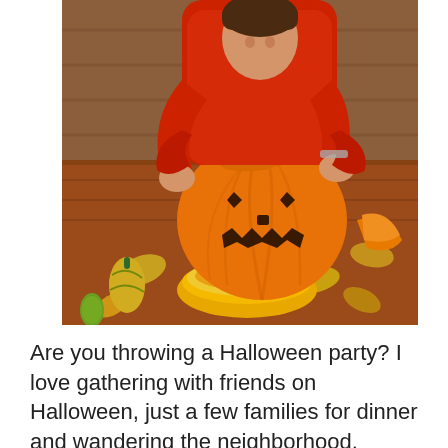[Figure (photo): A child in a red sweater carving a Halloween jack-o-lantern pumpkin on a wooden surface outdoors, surrounded by autumn leaves, gourds, squash, and a yellow bowl filled with pumpkin seeds and innards.]
Are you throwing a Halloween party? I love gathering with friends on Halloween, just a few families for dinner and wandering the neighborhood.